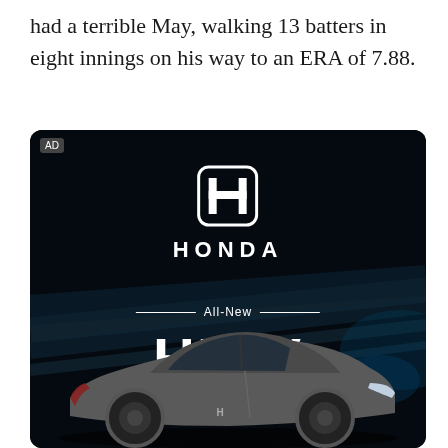had a terrible May, walking 13 batters in eight innings on his way to an ERA of 7.88.
[Figure (advertisement): Honda HR-V advertisement on black background. Shows Honda logo (H emblem) at top, 'HONDA' wordmark in bold white letters, decorative lines with 'All-New' text, large 'HR-V' model name, tagline 'Powered by determination.', and image of a dark silver Honda HR-V SUV at bottom with motion-blur light streaks in background.]